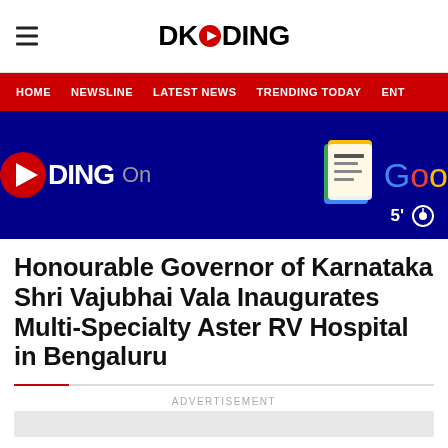DKODING
HOME   NEWSLINE   LATEST NEWS   TRENDING TODAY   ENT
[Figure (screenshot): DKODING On Google News banner with dark blue background, DKODING logo on left, Google News icon and Google logo on right with 5' timer]
Honourable Governor of Karnataka Shri Vajubhai Vala Inaugurates Multi-Specialty Aster RV Hospital in Bengaluru
ADVERTISEMENT